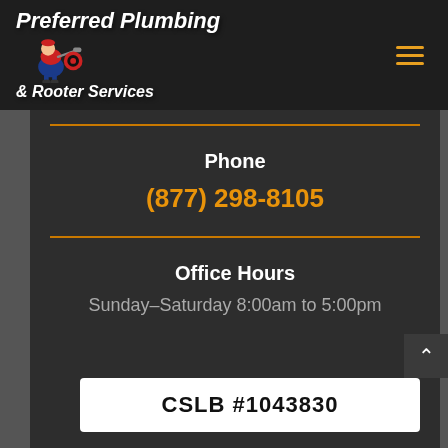[Figure (logo): Preferred Plumbing & Rooter Services logo with cartoon plumber mascot on dark background, with hamburger menu icon on the right]
Phone
(877) 298-8105
Office Hours
Sunday–Saturday 8:00am to 5:00pm
CSLB #1043830